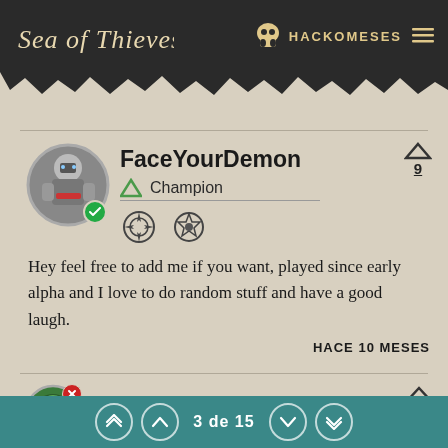Sea of Thieves — HACKOMESES
FaceYourDemon
Champion
Hey feel free to add me if you want, played since early alpha and I love to do random stuff and have a good laugh.
HACE 10 MESES
Sshteeve
3 de 15